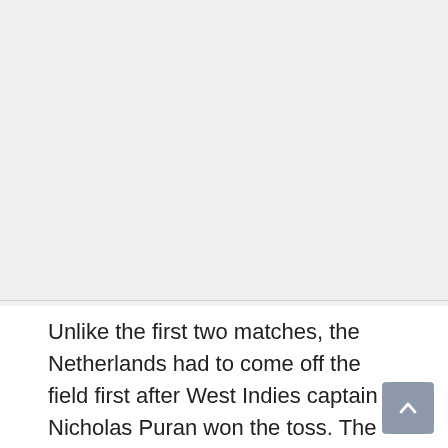[Figure (other): Large empty light gray area at the top of the page, likely a placeholder for an image or video.]
Unlike the first two matches, the Netherlands had to come off the field first after West Indies captain Nicholas Puran won the toss. The Orange bowlers were able to play on flat wickets and were able to see all corners of the field in the first forty overs.